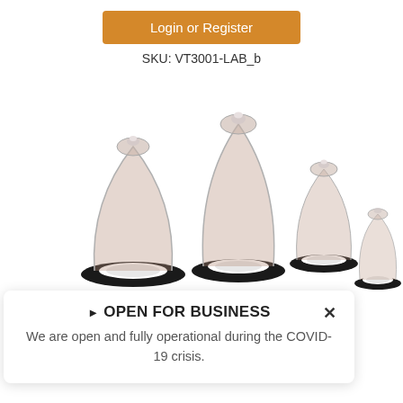Login or Register
SKU: VT3001-LAB_b
[Figure (photo): Multiple transparent cupping therapy devices with black bases arranged on a white background, showing different sizes]
▶ OPEN FOR BUSINESS
We are open and fully operational during the COVID-19 crisis.